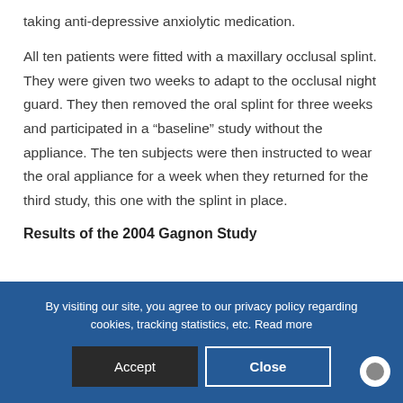taking anti-depressive anxiolytic medication.
All ten patients were fitted with a maxillary occlusal splint. They were given two weeks to adapt to the occlusal night guard. They then removed the oral splint for three weeks and participated in a “baseline” study without the appliance. The ten subjects were then instructed to wear the oral appliance for a week when they returned for the third study, this one with the splint in place.
Results of the 2004 Gagnon Study
By visiting our site, you agree to our privacy policy regarding cookies, tracking statistics, etc. Read more